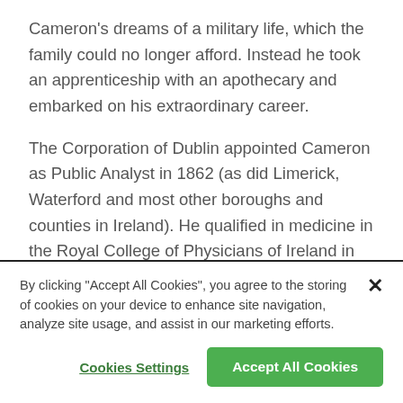Cameron's dreams of a military life, which the family could no longer afford. Instead he took an apprenticeship with an apothecary and embarked on his extraordinary career.
The Corporation of Dublin appointed Cameron as Public Analyst in 1862 (as did Limerick, Waterford and most other boroughs and counties in Ireland). He qualified in medicine in the Royal College of Physicians of Ireland in 1868 and was appointed Professor of Hygiene at the
By clicking "Accept All Cookies", you agree to the storing of cookies on your device to enhance site navigation, analyze site usage, and assist in our marketing efforts.
Cookies Settings
Accept All Cookies